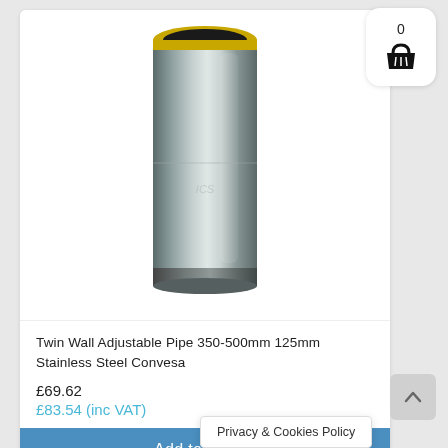[Figure (photo): A stainless steel twin wall adjustable pipe, cylindrical shape with a yellow/gold ring at the top, displayed on white background]
Twin Wall Adjustable Pipe 350-500mm 125mm Stainless Steel Convesa
£69.62
£83.54 (inc VAT)
Add to basket
Privacy & Cookies Policy
0